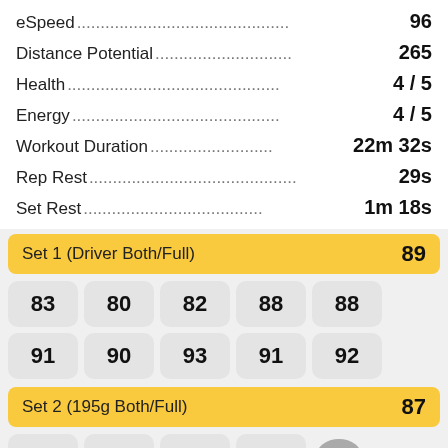eSpeed....................................................... 96
Distance Potential...................................... 265
Health........................................................ 4 / 5
Energy......................................................4 / 5
Workout Duration......................... 22m 32s
Rep Rest................................................... 29s
Set Rest.......................................... 1m 18s
Set 1 (Driver Both/Full)   89
83  80  82  88  88
91  90  93  91  92
Set 2 (195g Both/Full)   87
81  89  86  87
Set 3 (280g Both/Full)   69
80  87  71  72